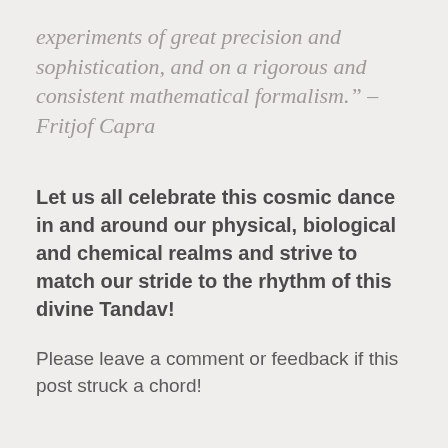experiments of great precision and sophistication, and on a rigorous and consistent mathematical formalism." – Fritjof Capra
Let us all celebrate this cosmic dance in and around our physical, biological and chemical realms and strive to match our stride to the rhythm of this divine Tandav!
Please leave a comment or feedback if this post struck a chord!